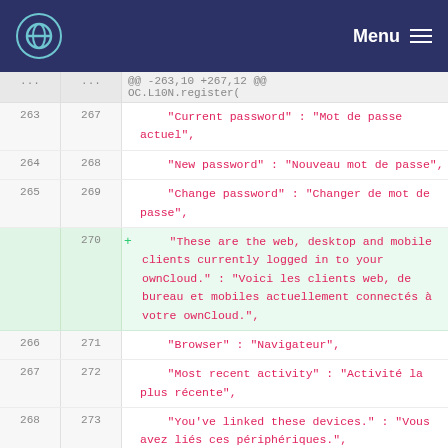Menu
@@ -263,10 +267,12 @@
OC.L10N.register(
263  267      "Current password" : "Mot de passe actuel",
264  268      "New password" : "Nouveau mot de passe",
265  269      "Change password" : "Changer de mot de passe",
270  +    "These are the web, desktop and mobile clients currently logged in to your ownCloud." : "Voici les clients web, de bureau et mobiles actuellement connectés à votre ownCloud.",
266  271      "Browser" : "Navigateur",
267  272      "Most recent activity" : "Activité la plus récente",
268  273      "You've linked these devices." : "Vous avez liés ces périphériques.",